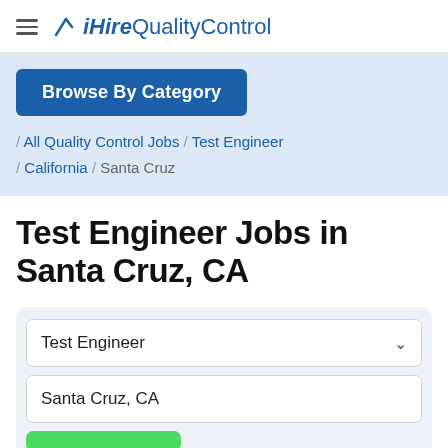iHireQualityControl
Browse By Category
/ All Quality Control Jobs / Test Engineer / California / Santa Cruz
Test Engineer Jobs in Santa Cruz, CA
Test Engineer
Santa Cruz, CA